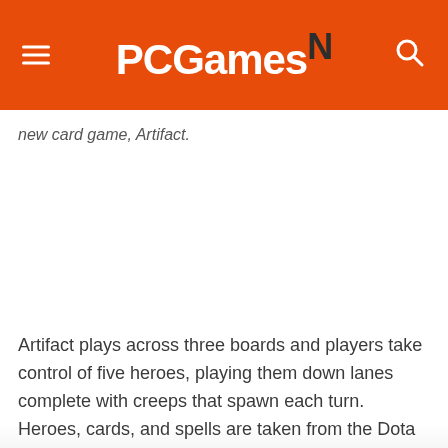PCGamesN
new card game, Artifact.
Artifact plays across three boards and players take control of five heroes, playing them down lanes complete with creeps that spawn each turn. Heroes, cards, and spells are taken from the Dota universe, their powers and skills repurposed to suit a trading card game.